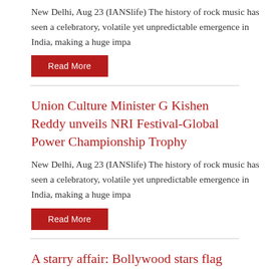New Delhi, Aug 23 (IANSlife) The history of rock music has seen a celebratory, volatile yet unpredictable emergence in India, making a huge impa
Read More
Union Culture Minister G Kishen Reddy unveils NRI Festival-Global Power Championship Trophy
New Delhi, Aug 23 (IANSlife) The history of rock music has seen a celebratory, volatile yet unpredictable emergence in India, making a huge impa
Read More
A starry affair: Bollywood stars flag off